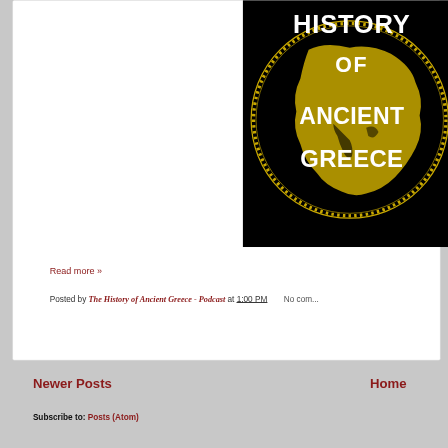[Figure (logo): History of Ancient Greece Podcast logo — black background with gold globe/map and stylized white text reading 'HISTORY OF ANCIENT GREECE']
Read more »
Posted by The History of Ancient Greece - Podcast at 1:00 PM    No com...
Newer Posts
Home
Subscribe to: Posts (Atom)